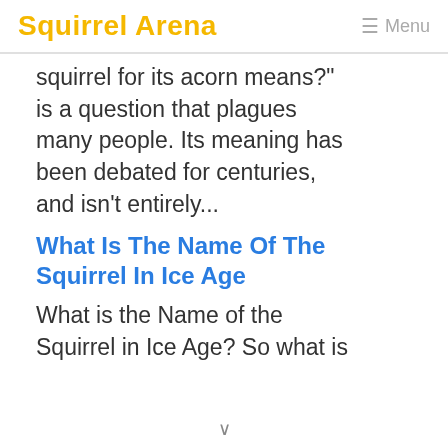Squirrel Arena  ☰ Menu
squirrel for its acorn means?" is a question that plagues many people. Its meaning has been debated for centuries, and isn't entirely...
What Is The Name Of The Squirrel In Ice Age
What is the Name of the Squirrel in Ice Age? So what is